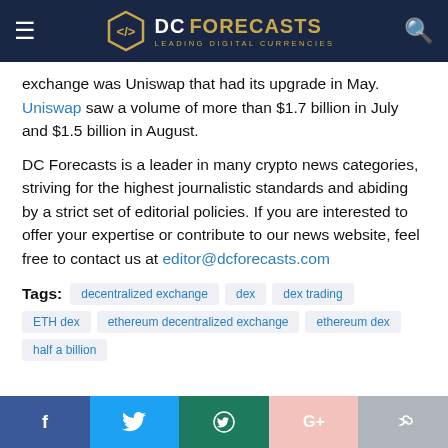DC Forecasts — Leading Digital Currencies
exchange was Uniswap that had its upgrade in May. Uniswap saw a volume of more than $1.7 billion in July and $1.5 billion in August.
DC Forecasts is a leader in many crypto news categories, striving for the highest journalistic standards and abiding by a strict set of editorial policies. If you are interested to offer your expertise or contribute to our news website, feel free to contact us at editor@dcforecasts.com
Tags: decentralized exchange | dex | dex trading | ETH dex | ethereum decentralized exchange | ethereum dex | half a billion
[Figure (other): Social sharing buttons: Facebook, Twitter, WhatsApp, Google+, Share]